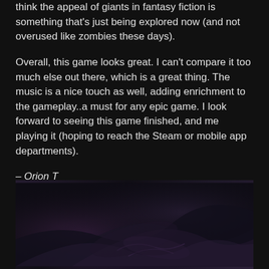think the appeal of giants in fantasy fiction is something that's just being explored now (and not overused like zombies these days).
Overall, this game looks great. I can't compare it too much else out there, which is a great thing. The music is a nice touch as well, adding enrichment to the gameplay..a must for any epic game. I look forward to seeing this game finished, and me playing it (hoping to reach the Steam or mobile app departments).
– Orion T
Game cover art. Looks awesome.
[Figure (illustration): Dark fantasy game cover art showing swirling dark abstract forms with deep purples and blacks, suggesting a dramatic fantasy scene]